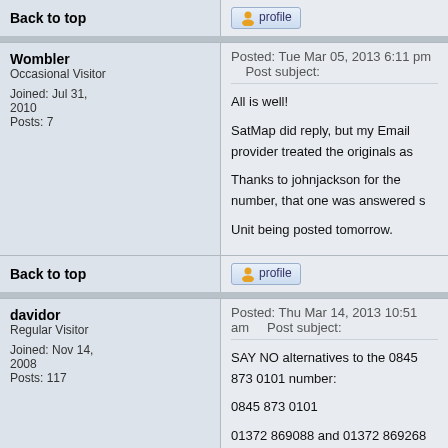Back to top | profile
Wombler
Occasional Visitor
Joined: Jul 31, 2010
Posts: 7
Posted: Tue Mar 05, 2013 6:11 pm   Post subject:
All is well!
SatMap did reply, but my Email provider treated the originals as
Thanks to johnjackson for the number, that one was answered s
Unit being posted tomorrow.
Back to top | profile
davidor
Regular Visitor
Joined: Nov 14, 2008
Posts: 117
Posted: Thu Mar 14, 2013 10:51 am   Post subject:
SAY NO alternatives to the 0845 873 0101 number:
0845 873 0101
01372 869088 and 01372 869268
DO NOT SUPPORT 08XX numbers or the companies that use t
Back to top | profile
sussamb
Posted: Thu Mar 14, 2013 11:53 am   Post subject: